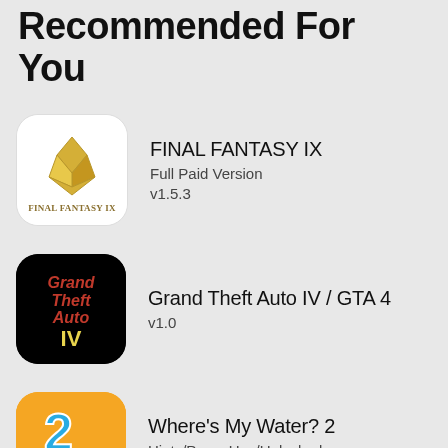Recommended For You
FINAL FANTASY IX
Full Paid Version
v1.5.3
Grand Theft Auto IV / GTA 4
v1.0
Where's My Water? 2
Hints/PowerUps/Unlocked
v1.9.9